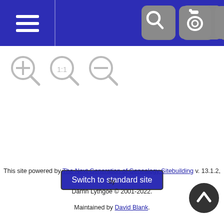[Figure (screenshot): Navigation bar with hamburger menu icon on left and three icon buttons (search, camera, info) on right against dark blue background]
[Figure (screenshot): Zoom controls: zoom-in, 1:1, and zoom-out magnifier icons in gray]
[Figure (organizational-chart): Partial genealogy/family tree showing a person card with the name 'Leslie' connected by vertical and horizontal lines]
Switch to standard site
This site powered by The Next Generation of Genealogy Sitebuilding v. 13.1.2, by Darrin Lythgoe © 2001-2022.
Maintained by David Blank.